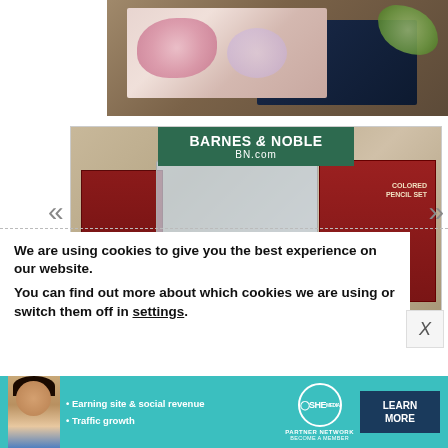[Figure (photo): Floral notebooks on a dark wood surface with greenery, partial view at top of page]
[Figure (photo): Barnes & Noble advertisement showing art supplies including Micro-Line pen set, markers in a clear case, and a Colored Pencil Set, with Barnes & Noble BN.com logo overlay and carousel navigation arrows]
We are using cookies to give you the best experience on our website.
You can find out more about which cookies we are using or switch them off in settings.
[Figure (photo): SHE Partner Network advertisement banner with woman photo, bullet points: Earning site & social revenue, Traffic growth; SHE logo and LEARN MORE button]